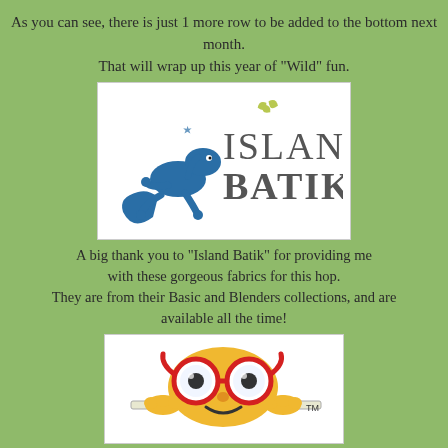As you can see, there is just 1 more row to be added to the bottom next month.
That will wrap up this year of "Wild" fun.
[Figure (logo): Island Batik logo with blue gecko lizard and stylized text]
A big thank you to "Island Batik" for providing me with these gorgeous fabrics for this hop.
They are from their Basic and Blenders collections, and are available all the time!
[Figure (illustration): Cartoon mascot character with large red glasses and yellow hands peeking over a ledge, with TM mark]
Have you missed anything?
It's not too late...
For a small fee you can still get these blocks!